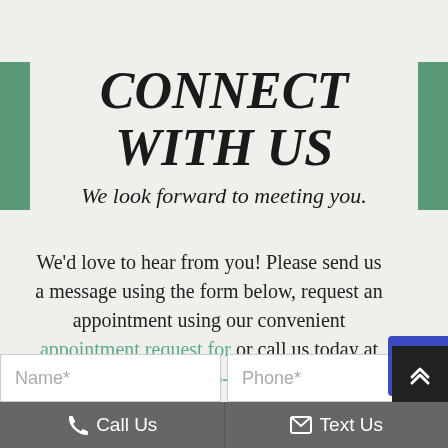CONNECT WITH US
We look forward to meeting you.
We'd love to hear from you! Please send us a message using the form below, request an appointment using our convenient appointment request for or call us today at (858) 226-2824.
Name*
Phone*
Call Us
Text Us